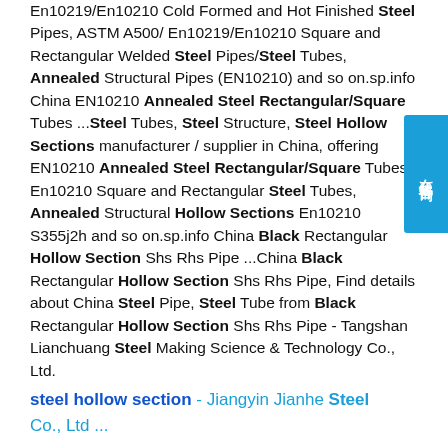En10219/En10210 Cold Formed and Hot Finished Steel Pipes, ASTM A500/ En10219/En10210 Square and Rectangular Welded Steel Pipes/Steel Tubes, Annealed Structural Pipes (EN10210) and so on.sp.info China EN10210 Annealed Steel Rectangular/Square Tubes ...Steel Tubes, Steel Structure, Steel Hollow Sections manufacturer / supplier in China, offering EN10210 Annealed Steel Rectangular/Square Tubes, En10210 Square and Rectangular Steel Tubes, Annealed Structural Hollow Sections En10210 S355j2h and so on.sp.info China Black Rectangular Hollow Section Shs Rhs Pipe ...China Black Rectangular Hollow Section Shs Rhs Pipe, Find details about China Steel Pipe, Steel Tube from Black Rectangular Hollow Section Shs Rhs Pipe - Tangshan Lianchuang Steel Making Science & Technology Co., Ltd.
steel hollow section - Jiangyin Jianhe Steel Co., Ltd ...